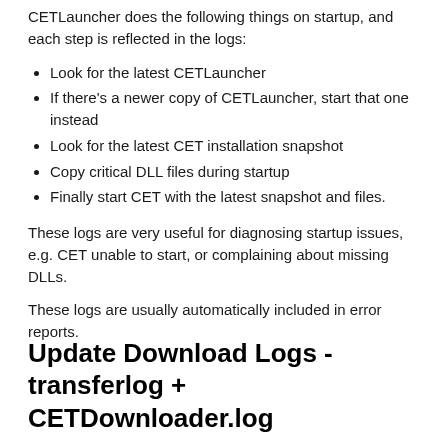CETLauncher does the following things on startup, and each step is reflected in the logs:
Look for the latest CETLauncher
If there's a newer copy of CETLauncher, start that one instead
Look for the latest CET installation snapshot
Copy critical DLL files during startup
Finally start CET with the latest snapshot and files.
These logs are very useful for diagnosing startup issues, e.g. CET unable to start, or complaining about missing DLLs.
These logs are usually automatically included in error reports.
Update Download Logs - transferlog + CETDownloader.log